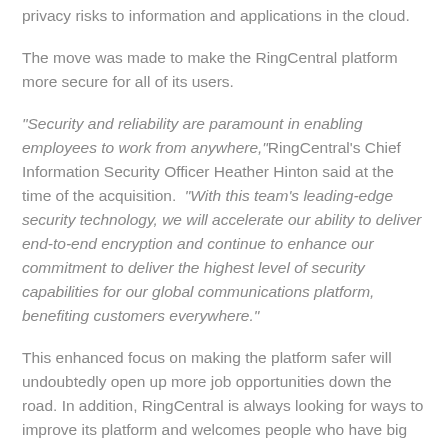privacy risks to information and applications in the cloud.
The move was made to make the RingCentral platform more secure for all of its users.
"Security and reliability are paramount in enabling employees to work from anywhere," RingCentral's Chief Information Security Officer Heather Hinton said at the time of the acquisition. "With this team's leading-edge security technology, we will accelerate our ability to deliver end-to-end encryption and continue to enhance our commitment to deliver the highest level of security capabilities for our global communications platform, benefiting customers everywhere."
This enhanced focus on making the platform safer will undoubtedly open up more job opportunities down the road. In addition, RingCentral is always looking for ways to improve its platform and welcomes people who have big ideas and love innovation.